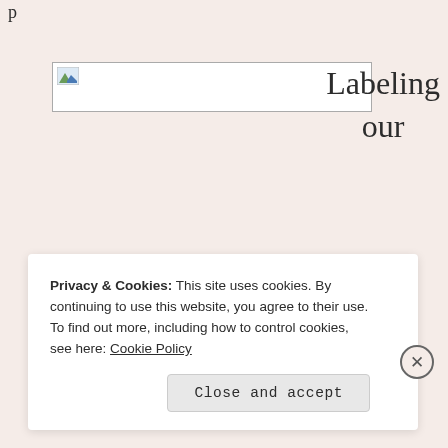p
[Figure (photo): Broken/placeholder image icon in a rectangular border]
Labeling our
Privacy & Cookies: This site uses cookies. By continuing to use this website, you agree to their use.
To find out more, including how to control cookies, see here: Cookie Policy
Close and accept